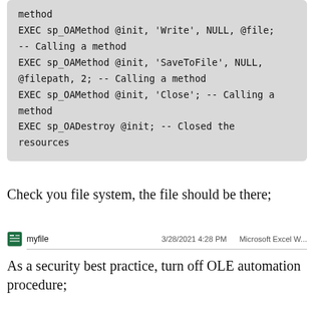method
EXEC sp_OAMethod @init, 'Write', NULL, @file;
-- Calling a method
EXEC sp_OAMethod @init, 'SaveToFile', NULL,
@filepath, 2; -- Calling a method
EXEC sp_OAMethod @init, 'Close'; -- Calling a method
EXEC sp_OADestroy @init; -- Closed the resources
Check you file system, the file should be there;
[Figure (screenshot): File system entry showing 'myfile', dated 3/28/2021 4:28 PM, type Microsoft Excel W...]
As a security best practice, turn off OLE automation procedure;